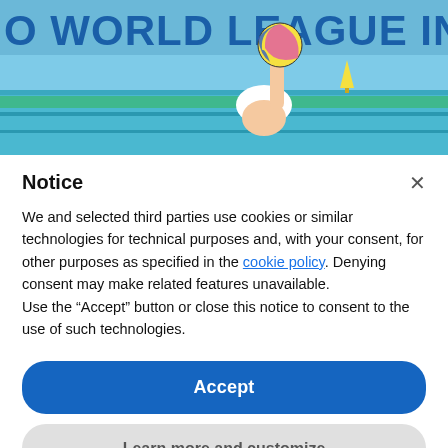[Figure (photo): Water polo player in a pool holding a colorful ball above water, with a banner reading 'O WORLD LEAGUE INTER-CON' in the background.]
Notice
We and selected third parties use cookies or similar technologies for technical purposes and, with your consent, for other purposes as specified in the cookie policy. Denying consent may make related features unavailable.
Use the "Accept" button or close this notice to consent to the use of such technologies.
Accept
Learn more and customize